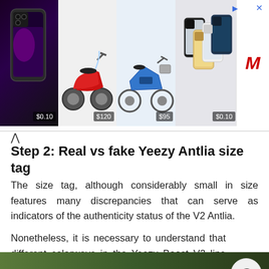[Figure (other): Advertisement banner showing four product images: iPhone 13 Pro ($0.10), red electric scooter ($120), blue electric bicycle ($95), iPhone 12 lineup ($0.10), with MediaMarkt logo and close/arrow buttons]
Step 2: Real vs fake Yeezy Antlia size tag
The size tag, although considerably small in size features many discrepancies that can serve as indicators of the authenticity status of the V2 Antlia.
Nonetheless, it is necessary to understand that different colorways in the Yeezy Boost V2 line have different misprints on their size tag and what is considered inconsistency on the Antlia colourway may not necessarily be considered as one of the Sesame, Butter, Cream or other colorways in the Yeezy-Adidas collection.
[Figure (photo): Partial view of a photo at the bottom of the page showing green/dark blurred background]